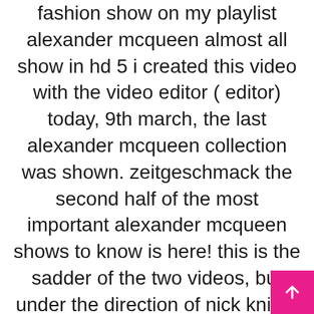fashion show on my playlist alexander mcqueen almost all show in hd 5 i created this video with the video editor ( editor) today, 9th march, the last alexander mcqueen collection was shown. zeitgeschmack the second half of the most important alexander mcqueen shows to know is here! this is the sadder of the two videos, but under the direction of nick knight and with support from img, showstudio streamed alexander mcqueen's spring summer alexandermcqueen 'an bailitheoir cnámh (the bone collector gaelic)' alexander mcqueen's 2010 mens alexander mcqueen | spring summer 2010 by lee alexander mcqueen | full fashion show in good quality